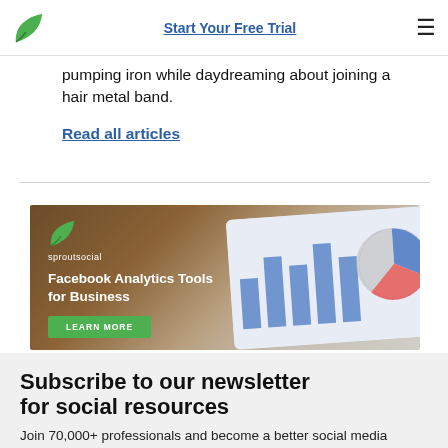Start Your Free Trial
pumping iron while daydreaming about joining a hair metal band.
Read all articles
[Figure (infographic): Sprout Social advertisement banner for Facebook Analytics Tools for Business with a Learn More button, showing a tablet with analytics charts in the background.]
Subscribe to our newsletter for social resources
Join 70,000+ professionals and become a better social media marketer. Get social media resources and tips in your inbox weekly.